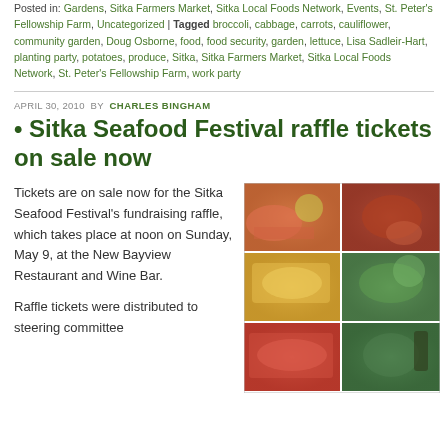Posted in: Gardens, Sitka Farmers Market, Sitka Local Foods Network, Events, St. Peter's Fellowship Farm, Uncategorized | Tagged broccoli, cabbage, carrots, cauliflower, community garden, Doug Osborne, food, food security, garden, lettuce, Lisa Sadleir-Hart, planting party, potatoes, produce, Sitka, Sitka Farmers Market, Sitka Local Foods Network, St. Peter's Fellowship Farm, work party
APRIL 30, 2010 BY CHARLES BINGHAM
• Sitka Seafood Festival raffle tickets on sale now
Tickets are on sale now for the Sitka Seafood Festival's fundraising raffle, which takes place at noon on Sunday, May 9, at the New Bayview Restaurant and Wine Bar.
[Figure (photo): A 2x3 grid of seafood food photography images showing various seafood dishes including salmon, crab, and other seafood items]
Raffle tickets were distributed to steering committee